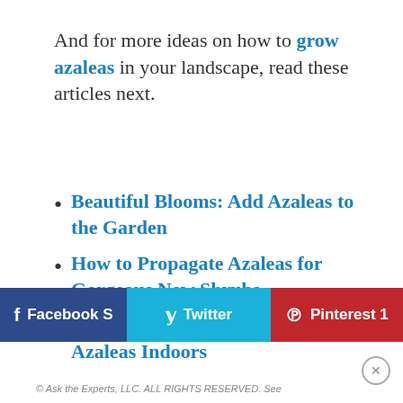And for more ideas on how to grow azaleas in your landscape, read these articles next.
Beautiful Blooms: Add Azaleas to the Garden
How to Propagate Azaleas for Gorgeous New Shrubs
How to Grow and Care for Florist's Azaleas Indoors
© Ask the Experts, LLC. ALL RIGHTS RESERVED. See FTC for more details. Do not republish without permission.